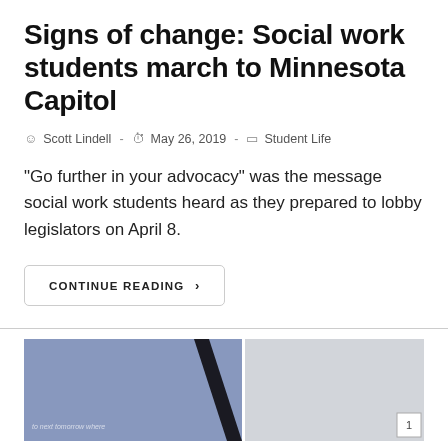Signs of change: Social work students march to Minnesota Capitol
Scott Lindell  -  May 26, 2019  -  Student Life
"Go further in your advocacy" was the message social work students heard as they prepared to lobby legislators on April 8.
CONTINUE READING ›
[Figure (photo): Partial photo strip showing two images side by side: left image shows a blue/purple sign with black diagonal element and partial text visible, right image shows a light grey background. A page number '1' is visible at the bottom right.]